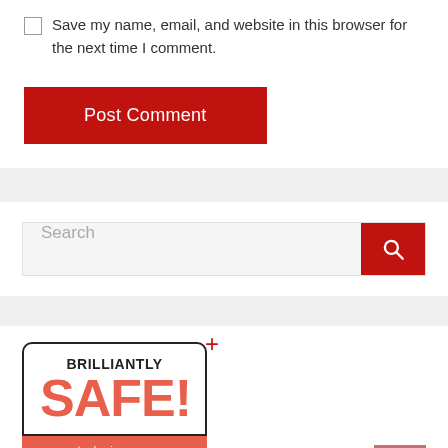Save my name, email, and website in this browser for the next time I comment.
Post Comment
Search
[Figure (infographic): Brilliantly SAFE! badge with techsrise.com URL bar and CONTENT & LINKS text below]
^